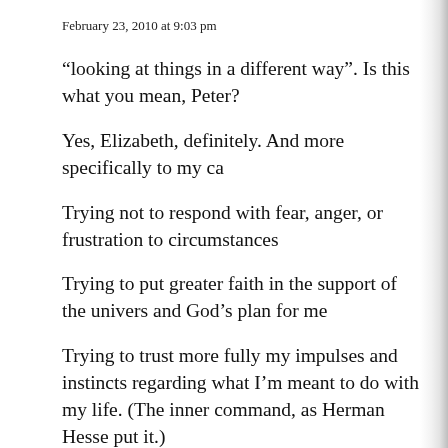February 23, 2010 at 9:03 pm
“looking at things in a different way”. Is this what you mean, Peter?
Yes, Elizabeth, definitely. And more specifically to my ca
Trying not to respond with fear, anger, or frustration to circumstances
Trying to put greater faith in the support of the univers and God’s plan for me
Trying to trust more fully my impulses and instincts regarding what I’m meant to do with my life. (The inner command, as Herman Hesse put it.)
I struggle with these things at times. Interestingly, and relevant to Tracy’s post, I also struggle with patience. Much